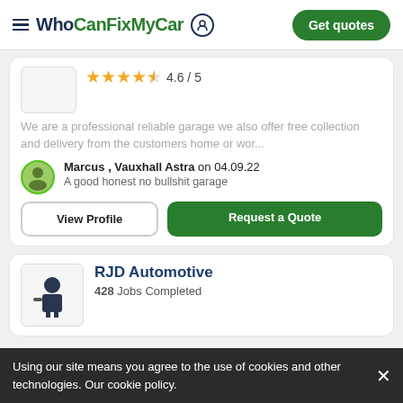WhoCanFixMyCar — Get quotes
4.6 / 5 (rating with stars)
We are a professional reliable garage we also offer free collection and delivery from the customers home or wor...
Marcus , Vauxhall Astra on 04.09.22
A good honest no bullshit garage
View Profile
Request a Quote
RJD Automotive
428 Jobs Completed
Using our site means you agree to the use of cookies and other technologies. Our cookie policy.